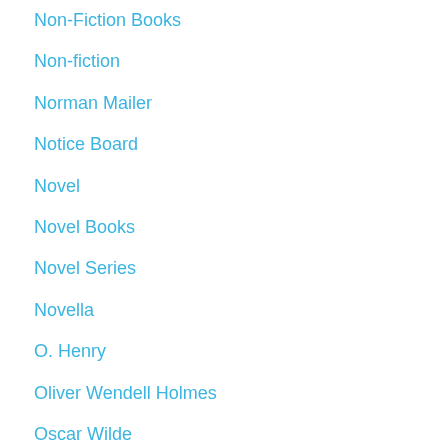Non-fiction Books
Non-fiction
Norman Mailer
Notice Board
Novel
Novel Books
Novel Series
Novella
O. Henry
Oliver Wendell Holmes
Oscar Wilde
Ovid
P. G. Wodehouse